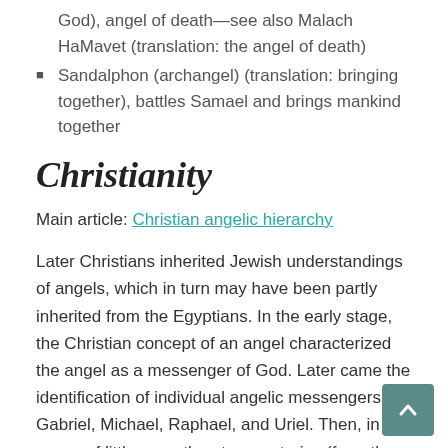God), angel of death—see also Malach HaMavet (translation: the angel of death)
Sandalphon (archangel) (translation: bringing together), battles Samael and brings mankind together
Christianity
Main article: Christian angelic hierarchy
Later Christians inherited Jewish understandings of angels, which in turn may have been partly inherited from the Egyptians. In the early stage, the Christian concept of an angel characterized the angel as a messenger of God. Later came the identification of individual angelic messengers: Gabriel, Michael, Raphael, and Uriel. Then, in the space of little more than two centuries (from the 3rd to the 5th) the image of